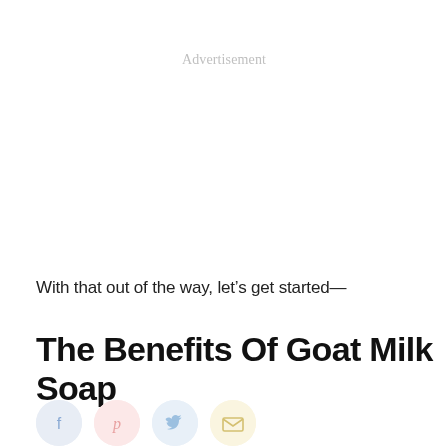Advertisement
With that out of the way, let’s get started—
The Benefits Of Goat Milk Soap
[Figure (infographic): Four social share icon buttons in a row: Facebook (light blue circle with f), Pinterest (light pink circle with p), Twitter (light blue circle with bird), Email (light yellow circle with envelope)]